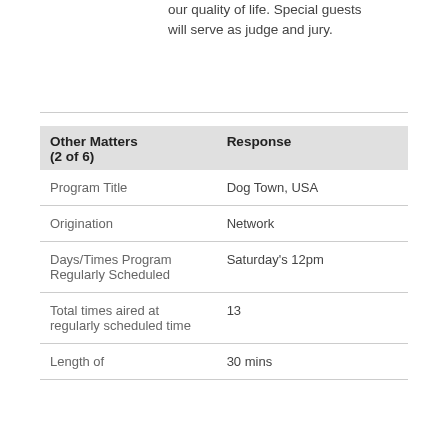our quality of life. Special guests will serve as judge and jury.
| Other Matters (2 of 6) | Response |
| --- | --- |
| Program Title | Dog Town, USA |
| Origination | Network |
| Days/Times Program Regularly Scheduled | Saturday's 12pm |
| Total times aired at regularly scheduled time | 13 |
| Length of | 30 mins |